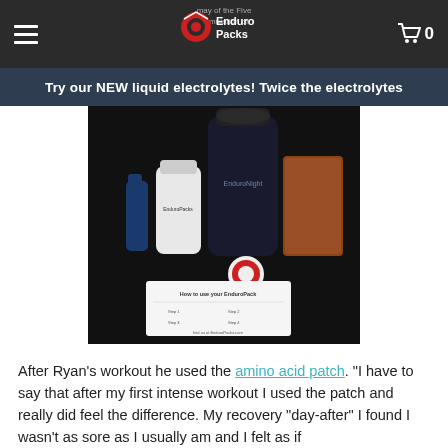EnduroPacks
Try our NEW liquid electrolytes! Twice the electrolytes
[Figure (photo): A collection of EnduroPack supplement products including a large dark bottle, a white pill bottle, a small spray bottle, a metallic bag, a sticker, and a how-to instruction card on a dark background.]
After Ryan’s workout he used the amino acid patch. “I have to say that after my first intense workout I used the patch and really did feel the difference. My recovery “day-after” I found I wasn’t as sore as I usually am and I felt as if